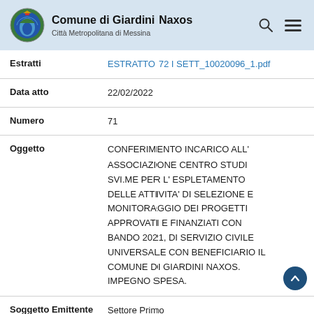Comune di Giardini Naxos
Città Metropolitana di Messina
| Estratti | ESTRATTO 72 I SETT_10020096_1.pdf |
| Data atto | 22/02/2022 |
| Numero | 71 |
| Oggetto | CONFERIMENTO INCARICO ALL' ASSOCIAZIONE CENTRO STUDI SVI.ME PER L' ESPLETAMENTO DELLE ATTIVITA' DI SELEZIONE E MONITORAGGIO DEI PROGETTI APPROVATI E FINANZIATI CON BANDO 2021, DI SERVIZIO CIVILE UNIVERSALE CON BENEFICIARIO IL COMUNE DI GIARDINI NAXOS. IMPEGNO SPESA. |
| Soggetto Emittente | Settore Primo |